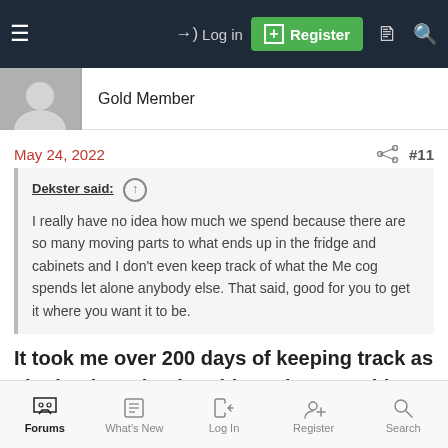≡  →) Log in  [+] Register
Gold Member
May 24, 2022   #11
Dekster said: ↑

I really have no idea how much we spend because there are so many moving parts to what ends up in the fridge and cabinets and I don't even keep track of what the Me cog spends let alone anybody else. That said, good for you to get it where you want it to be.
It took me over 200 days of keeping track as I had to keep buying things that I would run out of. You never eat everything in the house so it takes awhile to figger it out
Forums  What's New  Log In  Register  Search